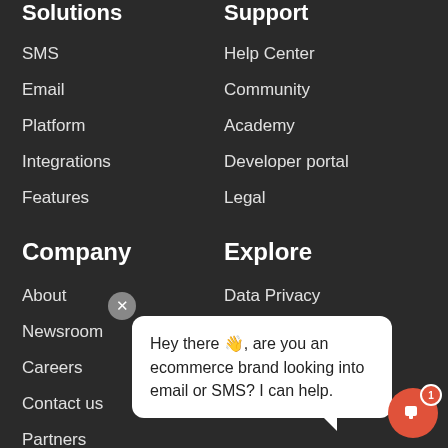Solutions
SMS
Email
Platform
Integrations
Features
Support
Help Center
Community
Academy
Developer portal
Legal
Company
About
Newsroom
Careers
Contact us
Partners
Explore
Data Privacy
Data Ownership
Hey there 👋, are you an ecommerce brand looking into email or SMS? I can help.